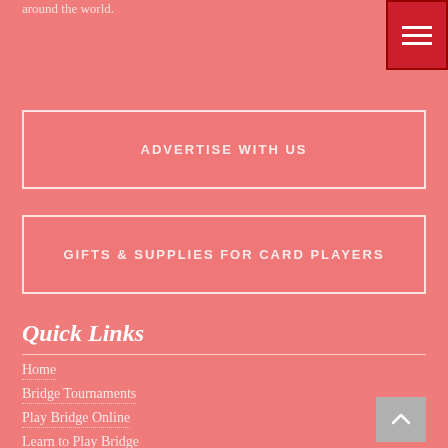around the world.
ADVERTISE WITH US
GIFTS & SUPPLIES FOR CARD PLAYERS
Quick Links
Home
Bridge Tournaments
Play Bridge Online
Learn to Play Bridge
Contract Bridge Apps